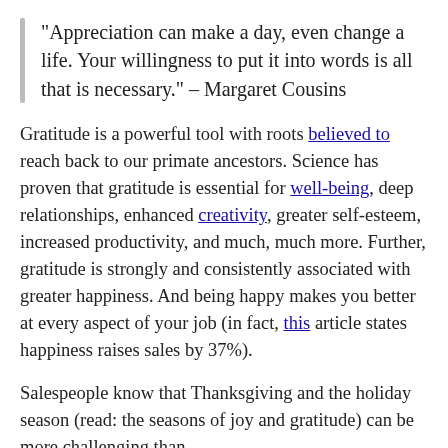"Appreciation can make a day, even change a life. Your willingness to put it into words is all that is necessary." – Margaret Cousins
Gratitude is a powerful tool with roots believed to reach back to our primate ancestors. Science has proven that gratitude is essential for well-being, deep relationships, enhanced creativity, greater self-esteem, increased productivity, and much, much more. Further, gratitude is strongly and consistently associated with greater happiness. And being happy makes you better at every aspect of your job (in fact, this article states happiness raises sales by 37%).
Salespeople know that Thanksgiving and the holiday season (read: the seasons of joy and gratitude) can be more challenging than